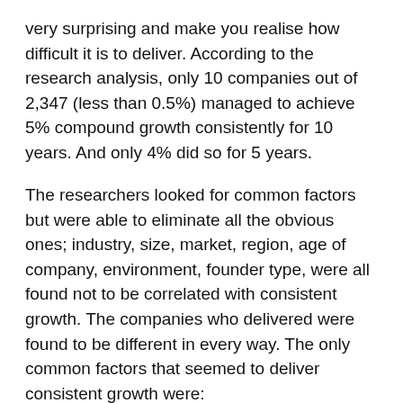very surprising and make you realise how difficult it is to deliver. According to the research analysis, only 10 companies out of 2,347 (less than 0.5%) managed to achieve 5% compound growth consistently for 10 years. And only 4% did so for 5 years.
The researchers looked for common factors but were able to eliminate all the obvious ones; industry, size, market, region, age of company, environment, founder type, were all found not to be correlated with consistent growth. The companies who delivered were found to be different in every way. The only common factors that seemed to deliver consistent growth were:
Stability of top management (although lower level executives were moved around)
A willingness to take small bets early in new markets
Diversification of the portfolio that was used...